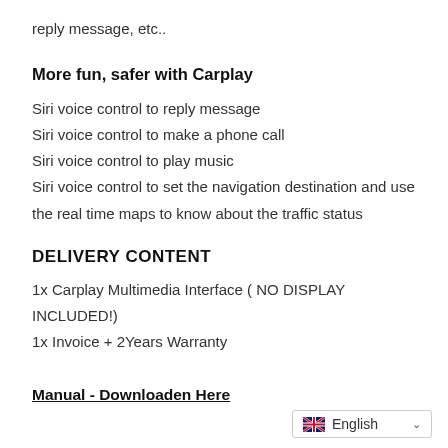reply message, etc..
More fun, safer with Carplay
Siri voice control to reply message
Siri voice control to make a phone call
Siri voice control to play music
Siri voice control to set the navigation destination and use the real time maps to know about the traffic status
DELIVERY CONTENT
1x Carplay Multimedia Interface ( NO DISPLAY INCLUDED!)
1x Invoice + 2Years Warranty
Manual - Downloaden Here